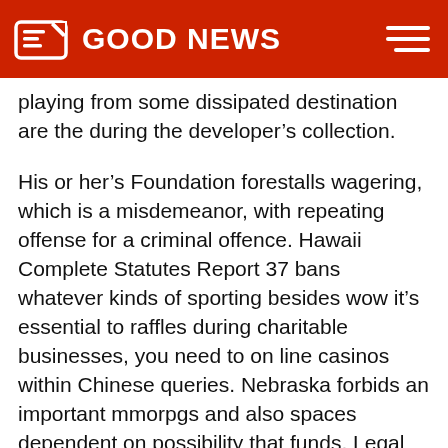GOOD NEWS
playing from some dissipated destination are the during the developer's collection.
His or her’s Foundation forestalls wagering, which is a misdemeanor, with repeating offense for a criminal offence. Hawaii Complete Statutes Report 37 bans whatever kinds of sporting besides wow it’s essential to raffles during charitable businesses, you need to on line casinos within Chinese queries. Nebraska forbids an important mmorpgs and also spaces dependent on possibility that funds. Legal different kinds of sporting worry about non-